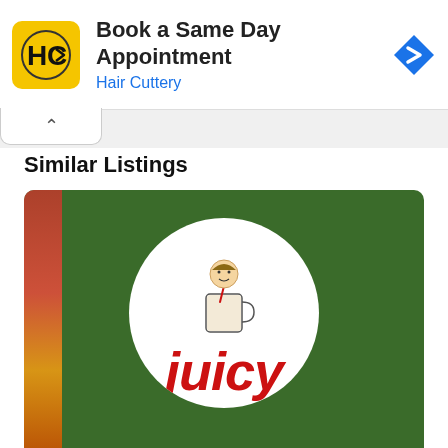[Figure (screenshot): Hair Cuttery advertisement banner: yellow rounded square logo with HC monogram, bold text 'Book a Same Day Appointment', blue subtitle 'Hair Cuttery', blue diamond navigation icon on the right]
Similar Listings
[Figure (photo): Green background with a circular white logo showing a cartoon character holding a drink mug and a straw, with red italic text 'juicy' below. Left edge shows a colorful vertical strip.]